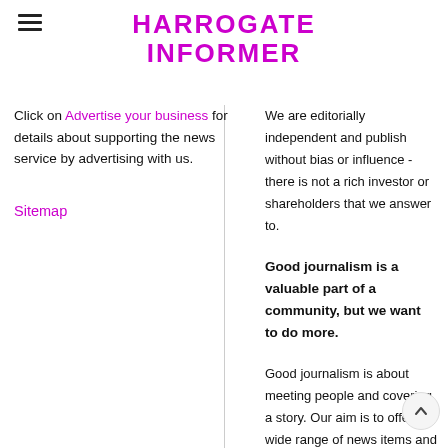HARROGATE INFORMER
Click on Advertise your business for details about supporting the news service by advertising with us.
Sitemap
We are editorially independent and publish without bias or influence - there is not a rich investor or shareholders that we answer to.
Good journalism is a valuable part of a community, but we want to do more.
Good journalism is about meeting people and covering a story. Our aim is to offer a wide range of news items and present them in an interesting way for all ages.
We are asking our readers to